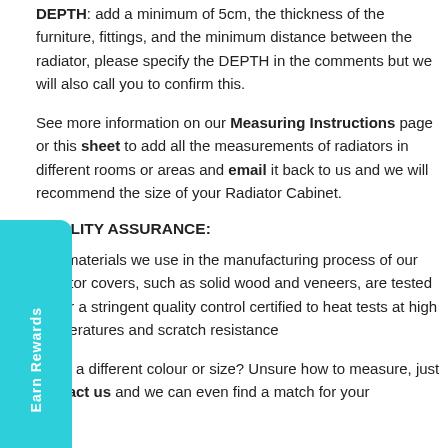DEPTH: add a minimum of 5cm, the thickness of the furniture, fittings, and the minimum distance between the radiator, please specify the DEPTH in the comments but we will also call you to confirm this.
See more information on our Measuring Instructions page or this sheet to add all the measurements of radiators in different rooms or areas and email it back to us and we will recommend the size of your Radiator Cabinet.
QUALITY ASSURANCE:
The materials we use in the manufacturing process of our radiator covers, such as solid wood and veneers, are tested under a stringent quality control certified to heat tests at high temperatures and scratch resistance
Need a different colour or size? Unsure how to measure, just contact us and we can even find a match for your